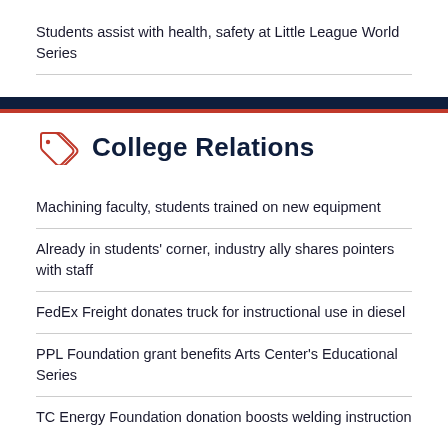Students assist with health, safety at Little League World Series
College Relations
Machining faculty, students trained on new equipment
Already in students' corner, industry ally shares pointers with staff
FedEx Freight donates truck for instructional use in diesel
PPL Foundation grant benefits Arts Center's Educational Series
TC Energy Foundation donation boosts welding instruction